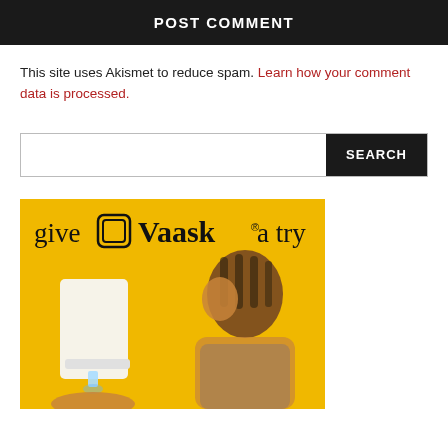POST COMMENT
This site uses Akismet to reduce spam. Learn how your comment data is processed.
[Figure (screenshot): Search bar with input field and dark SEARCH button]
[Figure (illustration): Advertisement banner: 'give Vaask a try' on yellow background with a child using a hand sanitizer dispenser]